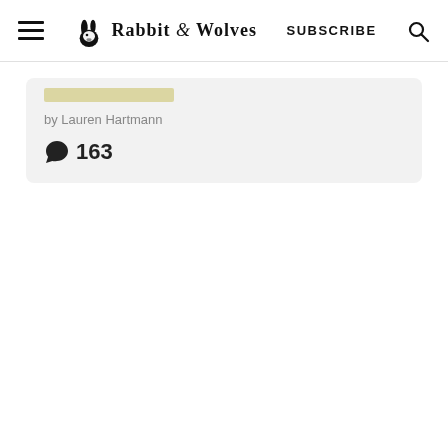Rabbit & Wolves — SUBSCRIBE
by Lauren Hartmann
163 comments